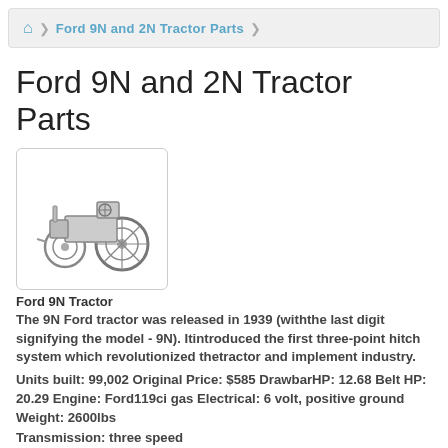Ford 9N and 2N Tractor Parts
Ford 9N and 2N Tractor Parts
[Figure (photo): Black and white illustration/photo of a Ford 9N tractor, side view, showing classic compact tractor design.]
Ford 9N Tractor
The 9N Ford tractor was released in 1939 (withthe last digit signifying the model - 9N). Itintroduced the first three-point hitch system which revolutionized thetractor and implement industry.
Units built: 99,002 Original Price: $585 DrawbarHP: 12.68 Belt HP: 20.29 Engine: Ford119ci gas Electrical: 6 volt, positive ground Weight: 2600lbs
Transmission: three speed
Ford 2N Tractor
The 2N Ford tractor was released in 1942 (withthe last digit signifying the model - 2N). While very similarto the 9N, it provided some added improvements like a larger fan